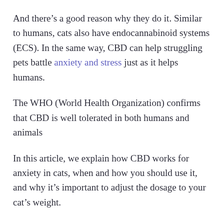And there’s a good reason why they do it. Similar to humans, cats also have endocannabinoid systems (ECS). In the same way, CBD can help struggling pets battle anxiety and stress just as it helps humans.
The WHO (World Health Organization) confirms that CBD is well tolerated in both humans and animals
In this article, we explain how CBD works for anxiety in cats, when and how you should use it, and why it’s important to adjust the dosage to your cat’s weight.